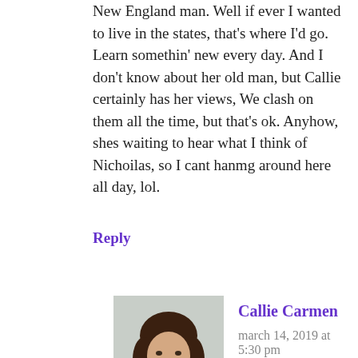New England man. Well if ever I wanted to live in the states, that's where I'd go. Learn somethin' new every day. And I don't know about her old man, but Callie certainly has her views, We clash on them all the time, but that's ok. Anyhow, shes waiting to hear what I think of Nichoilas, so I cant hanmg around here all day, lol.
Reply
[Figure (photo): Avatar photo of Callie Carmen, a woman with dark brown shoulder-length hair, smiling slightly, wearing a white top.]
Callie Carmen
march 14, 2019 at 5:30 pm
Hahaha. We do not clash with me all the time. You are a hoot. Soccer is a perfect example of that.